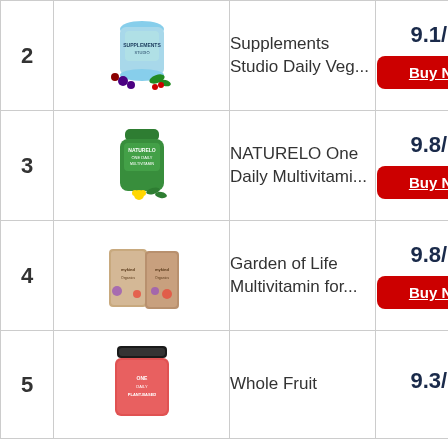| # | Image | Product | Score |
| --- | --- | --- | --- |
| 2 | [Supplements Studio bottle with berries] | Supplements Studio Daily Veg... | 9.1/10 |
| 3 | [Naturelo One Daily bottle] | NATURELO One Daily Multivitami... | 9.8/10 |
| 4 | [Garden of Life boxes] | Garden of Life Multivitamin for... | 9.8/10 |
| 5 | [Whole Fruit jar] | Whole Fruit | 9.3/10 |